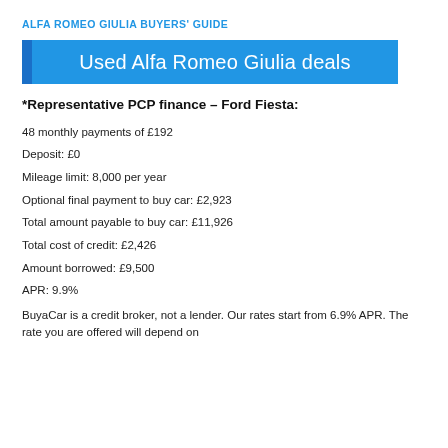ALFA ROMEO GIULIA BUYERS' GUIDE
Used Alfa Romeo Giulia deals
*Representative PCP finance – Ford Fiesta:
48 monthly payments of £192
Deposit: £0
Mileage limit: 8,000 per year
Optional final payment to buy car: £2,923
Total amount payable to buy car: £11,926
Total cost of credit: £2,426
Amount borrowed: £9,500
APR: 9.9%
BuyaCar is a credit broker, not a lender. Our rates start from 6.9% APR. The rate you are offered will depend on